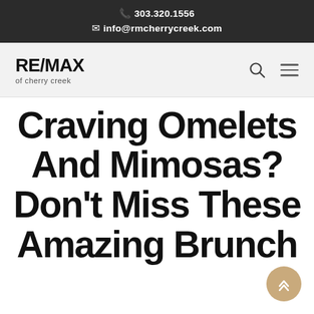303.320.1556
info@rmcherrycreek.com
[Figure (logo): RE/MAX of cherry creek logo with search and menu icons in navigation bar]
Craving Omelets And Mimosas? Don't Miss These Amazing Brunch